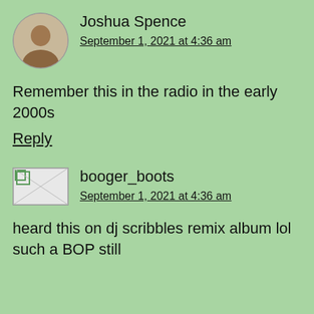[Figure (photo): Circular avatar photo of Joshua Spence]
Joshua Spence
September 1, 2021 at 4:36 am
Remember this in the radio in the early 2000s
Reply
[Figure (photo): Broken/placeholder image for booger_boots avatar]
booger_boots
September 1, 2021 at 4:36 am
heard this on dj scribbles remix album lol such a BOP still